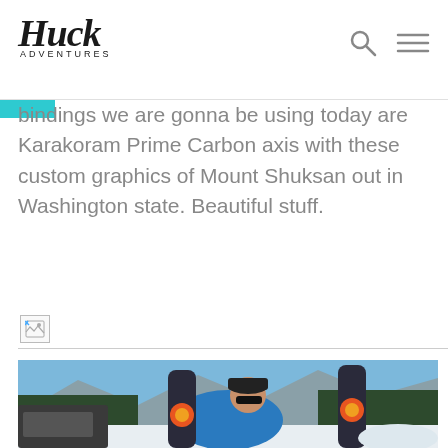Huck Adventures
bindings we are gonna be using today are Karakoram Prime Carbon axis with these custom graphics of Mount Shuksan out in Washington state. Beautiful stuff.
[Figure (photo): Broken image placeholder thumbnail with image icon]
[Figure (photo): A man in a blue jacket and black cap holding snowboards next to a vehicle in a snowy mountain setting with pine trees and blue sky]